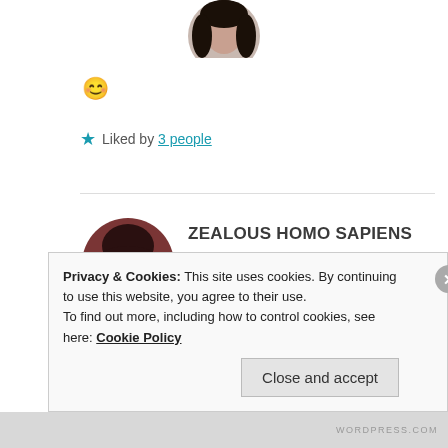[Figure (photo): Circular avatar photo of a person with dark hair, partially visible at top of page]
😊
★ Liked by 3 people
[Figure (photo): Circular avatar photo of a person with dark hair in warm brownish-red tones]
ZEALOUS HOMO SAPIENS
19 Mar 2019 at 11:22 pm
Well i happened to check it, its wrong. Aparte
Privacy & Cookies: This site uses cookies. By continuing to use this website, you agree to their use.
To find out more, including how to control cookies, see here: Cookie Policy
Close and accept